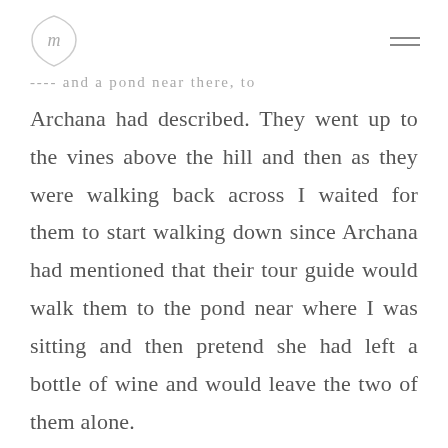[logo] [menu icon]
---- and a pond near there, to Archana had described. They went up to the vines above the hill and then as they were walking back across I waited for them to start walking down since Archana had mentioned that their tour guide would walk them to the pond near where I was sitting and then pretend she had left a bottle of wine and would leave the two of them alone.